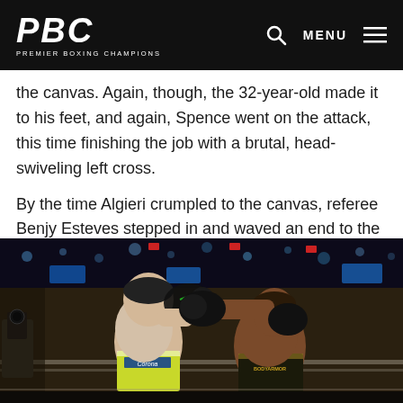PBC PREMIER BOXING CHAMPIONS
the canvas. Again, though, the 32-year-old made it to his feet, and again, Spence went on the attack, this time finishing the job with a brutal, head-swiveling left cross.
By the time Algieri crumpled to the canvas, referee Benjy Esteves stepped in and waved an end to the bout at the 48-second mark.
[Figure (photo): Two boxers exchanging punches in a boxing ring. The fighter on the left wearing yellow-green shorts with Corona sponsor logo, the fighter on the right wearing dark shorts with BodyArmor branding, throwing a punch.]